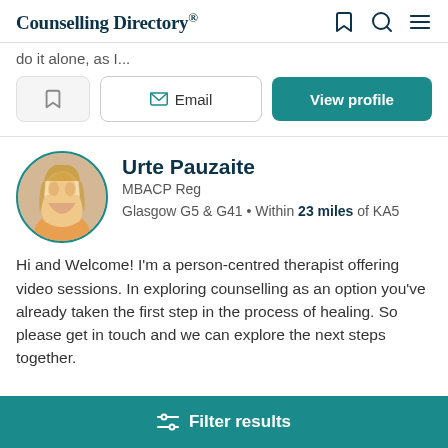Counselling Directory
do it alone, as I...
Email | View profile
Urte Pauzaite
MBACP Reg
Glasgow G5 & G41 • Within 23 miles of KA5
Hi and Welcome! I'm a person-centred therapist offering video sessions. In exploring counselling as an option you've already taken the first step in the process of healing. So please get in touch and we can explore the next steps together.
Filter results